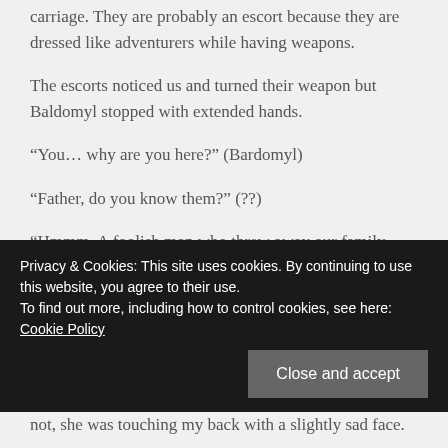carriage. They are probably an escort because they are dressed like adventurers while having weapons.
The escorts noticed us and turned their weapon but Baldomyl stopped with extended hands.
“You… why are you here?” (Bardomyl)
“Father, do you know them?” (??)
“Hmmm. A foolish man who threw away our family name after paying the money. He was once your half-blood brother.” (Bardomyl)
Privacy & Cookies: This site uses cookies. By continuing to use this website, you agree to their use. To find out more, including how to control cookies, see here: Cookie Policy
not, she was touching my back with a slightly sad face.